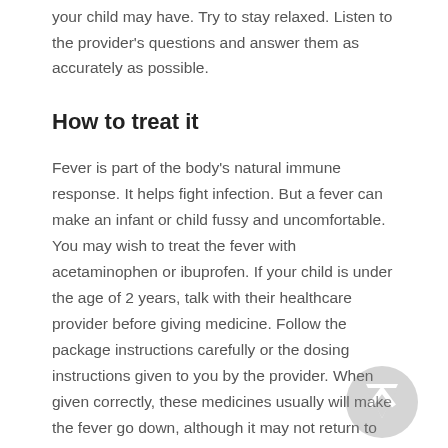your child may have. Try to stay relaxed. Listen to the provider's questions and answer them as accurately as possible.
How to treat it
Fever is part of the body's natural immune response. It helps fight infection. But a fever can make an infant or child fussy and uncomfortable. You may wish to treat the fever with acetaminophen or ibuprofen. If your child is under the age of 2 years, talk with their healthcare provider before giving medicine. Follow the package instructions carefully or the dosing instructions given to you by the provider. When given correctly, these medicines usually will make the fever go down, although it may not return to normal. If a temperature doesn't respond to fever medicine, this does not mean that your child is...